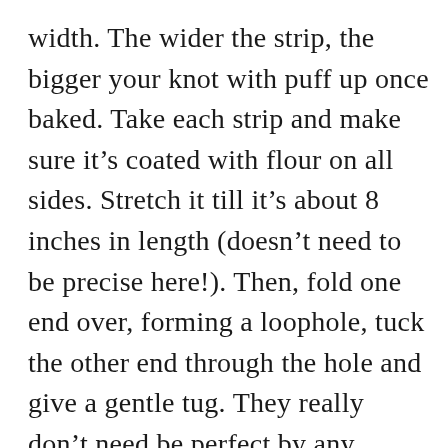width. The wider the strip, the bigger your knot with puff up once baked. Take each strip and make sure it’s coated with flour on all sides. Stretch it till it’s about 8 inches in length (doesn’t need to be precise here!). Then, fold one end over, forming a loophole, tuck the other end through the hole and give a gentle tug. They really don’t need be perfect by any means. They all puff up nicely in the oven and taste divine!